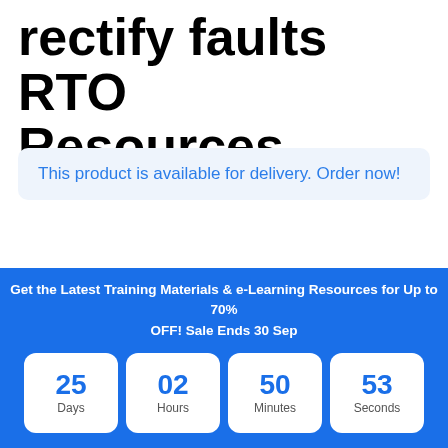rectify faults RTO Resources
This product is available for delivery. Order now!
Summary  Assessment Tools  Publisher
Get the Latest Training Materials & e-Learning Resources for Up to 70% OFF! Sale Ends 30 Sep
25 Days  02 Hours  50 Minutes  53 Seconds